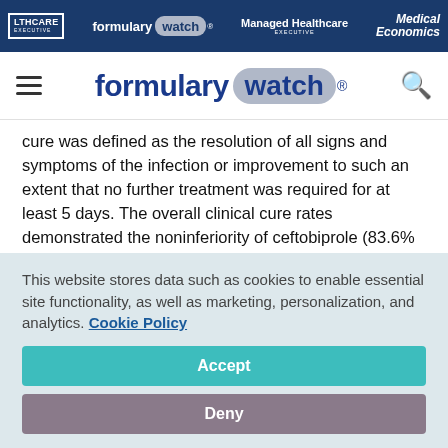HEALTHCARE EXECUTIVE | formulary watch | Managed Healthcare EXECUTIVE | Medical Economics
[Figure (logo): Formulary Watch logo with hamburger menu and search icon]
cure was defined as the resolution of all signs and symptoms of the infection or improvement to such an extent that no further treatment was required for at least 5 days. The overall clinical cure rates demonstrated the noninferiority of ceftobiprole (83.6% for ceftobiprole vs 83% for vancomycin plus ceftazidime in the microbiological ITT population, and 90.8% vs 90.5% in the microbiologically evaluable population
This website stores data such as cookies to enable essential site functionality, as well as marketing, personalization, and analytics. Cookie Policy
Accept
Deny